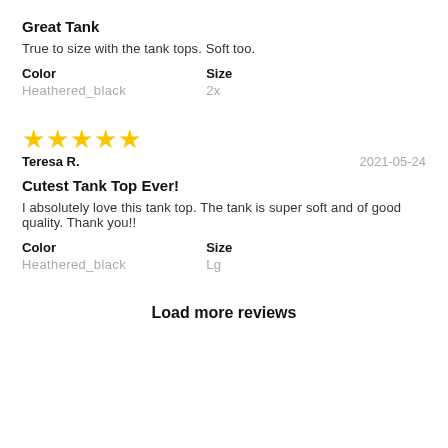Great Tank
True to size with the tank tops. Soft too.
Color
Heathered_black
Size
2x
[Figure (other): 5 yellow star rating]
Teresa R.
2021-05-24
Cutest Tank Top Ever!
I absolutely love this tank top. The tank is super soft and of good quality. Thank you!!
Color
Heathered_black
Size
Lg
Load more reviews